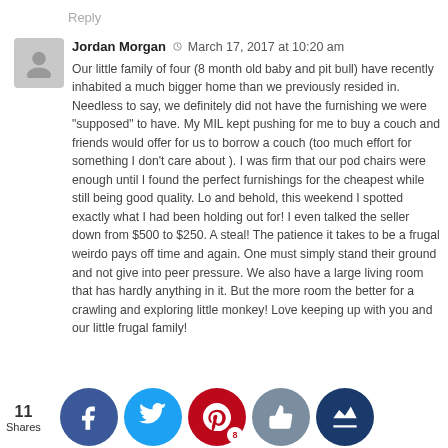Reply
Jordan Morgan  March 17, 2017 at 10:20 am
Our little family of four (8 month old baby and pit bull) have recently inhabited a much bigger home than we previously resided in. Needless to say, we definitely did not have the furnishing we were "supposed" to have. My MIL kept pushing for me to buy a couch and friends would offer for us to borrow a couch (too much effort for something I don't care about ). I was firm that our pod chairs were enough until I found the perfect furnishings for the cheapest while still being good quality. Lo and behold, this weekend I spotted exactly what I had been holding out for! I even talked the seller down from $500 to $250. A steal! The patience it takes to be a frugal weirdo pays off time and again. One must simply stand their ground and not give into peer pressure. We also have a large living room that has hardly anything in it. But the more room the better for a crawling and exploring little monkey! Love keeping up with you and our little frugal family!
11 Shares